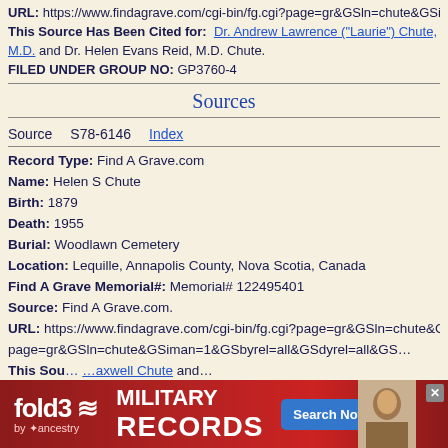Source: Find A Grave.com
URL: https://www.findagrave.com/cgi-bin/fg.cgi?page=gr&GSln=chute&GSiman=1&GSbyrel=all&GSdyrel=all&GS…
This Source Has Been Cited for: Dr. Andrew Lawrence ("Laurie") Chute, M.D. and Dr. Helen Evans Reid, M.D. Chute.
FILED UNDER GROUP NO: GP3760-4
Sources
Source   S78-6146      Index
Record Type: Find A Grave.com
Name: Helen S Chute
Birth: 1879
Death: 1955
Burial: Woodlawn Cemetery
Location: Lequille, Annapolis County, Nova Scotia, Canada
Find A Grave Memorial#: Memorial# 122495401
Source: Find A Grave.com.
URL: https://www.findagrave.com/cgi-bin/fg.cgi?page=gr&GSln=chute&GSiman=1&GSbyrel=all&GSdyrel=all&GS…
This Sou… …axwell Chute and…
FILED U…
[Figure (screenshot): Fold3 by Ancestry advertisement banner for Military Records with Search Now button]